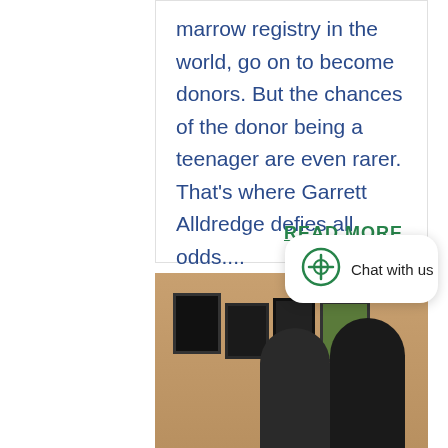marrow registry in the world, go on to become donors. But the chances of the donor being a teenager are even rarer. That's where Garrett Alldredge defies all odds....
READ MORE
[Figure (photo): Photo of two people (a woman and a man) standing in front of a wall with framed pictures/certificates, in a medical or office setting with warm tan walls.]
Chat with us